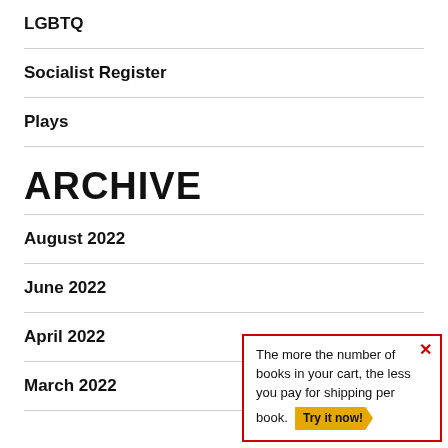LGBTQ
Socialist Register
Plays
ARCHIVE
August 2022
June 2022
April 2022
March 2022
The more the number of books in your cart, the less you pay for shipping per book. Try it now!